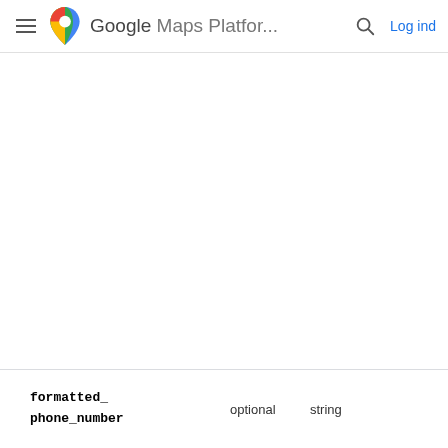Google Maps Platfor... Log ind
| Field | Required/Optional | Type |
| --- | --- | --- |
| formatted_phone_number | optional | string |